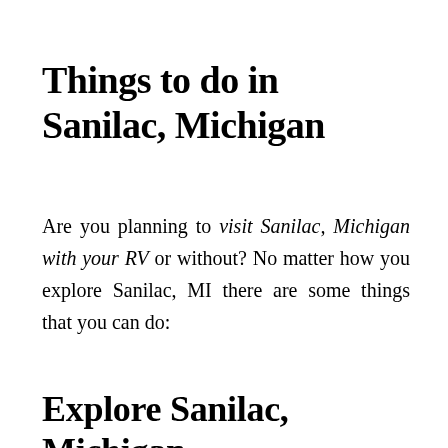Things to do in Sanilac, Michigan
Are you planning to visit Sanilac, Michigan with your RV or without? No matter how you explore Sanilac, MI there are some things that you can do:
Explore Sanilac, Michigan